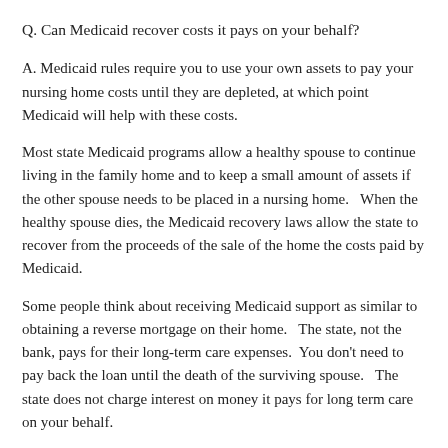Q. Can Medicaid recover costs it pays on your behalf?
A. Medicaid rules require you to use your own assets to pay your nursing home costs until they are depleted, at which point Medicaid will help with these costs.
Most state Medicaid programs allow a healthy spouse to continue living in the family home and to keep a small amount of assets if the other spouse needs to be placed in a nursing home.   When the healthy spouse dies, the Medicaid recovery laws allow the state to recover from the proceeds of the sale of the home the costs paid by Medicaid.
Some people think about receiving Medicaid support as similar to obtaining a reverse mortgage on their home.   The state, not the bank, pays for their long-term care expenses.  You don't need to pay back the loan until the death of the surviving spouse.   The state does not charge interest on money it pays for long term care on your behalf.